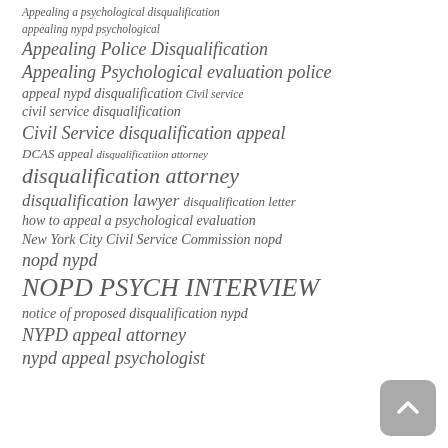Appealing a psychological disqualification
appealing nypd psychological
Appealing Police Disqualification
Appealing Psychological evaluation police
appeal nypd disqualification Civil service
civil service disqualification
Civil Service disqualification appeal
DCAS appeal disqualificatiion attorney
disqualification attorney
disqualification lawyer disqualification letter
how to appeal a psychological evaluation
New York City Civil Service Commission nopd
nopd nypd
NOPD PSYCH INTERVIEW
notice of proposed disqualification nypd
NYPD appeal attorney
nypd appeal psychologist